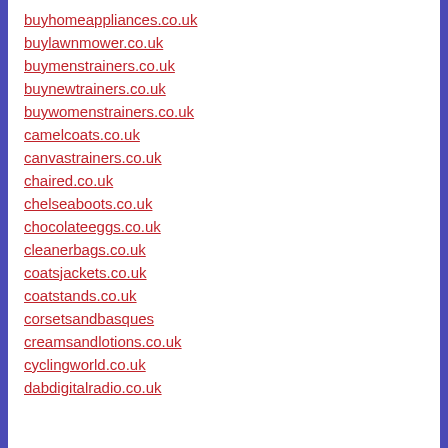buyhomeappliances.co.uk
buylawnmower.co.uk
buymenstrainers.co.uk
buynewtrainers.co.uk
buywomenstrainers.co.uk
camelcoats.co.uk
canvastrainers.co.uk
chaired.co.uk
chelseaboots.co.uk
chocolateeggs.co.uk
cleanerbags.co.uk
coatsjackets.co.uk
coatstands.co.uk
corsetsandbasques
creamsandlotions.co.uk
cyclingworld.co.uk
dabdigitalradio.co.uk